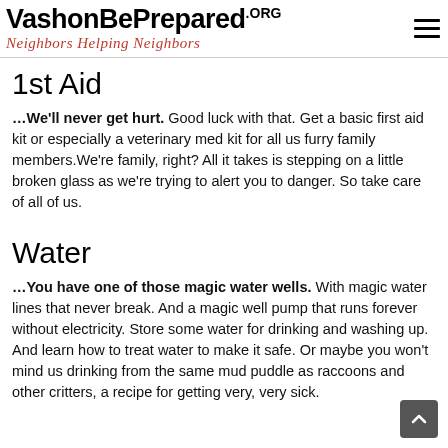VashonBePrepared.org Neighbors Helping Neighbors
1st Aid
…We'll never get hurt. Good luck with that. Get a basic first aid kit or especially a veterinary med kit for all us furry family members.We're family, right? All it takes is stepping on a little broken glass as we're trying to alert you to danger. So take care of all of us.
Water
…You have one of those magic water wells. With magic water lines that never break. And a magic well pump that runs forever without electricity. Store some water for drinking and washing up. And learn how to treat water to make it safe. Or maybe you won't mind us drinking from the same mud puddle as raccoons and other critters, a recipe for getting very, very sick.